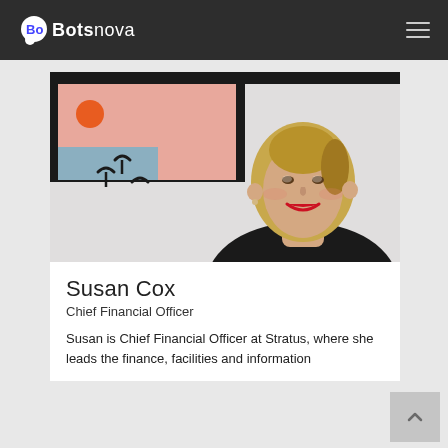Botsnova
[Figure (photo): Portrait photo of Susan Cox, a blonde woman wearing a black top, smiling, with a colorful abstract painting in the background.]
Susan Cox
Chief Financial Officer
Susan is Chief Financial Officer at Stratus, where she leads the finance, facilities and information technology departments.